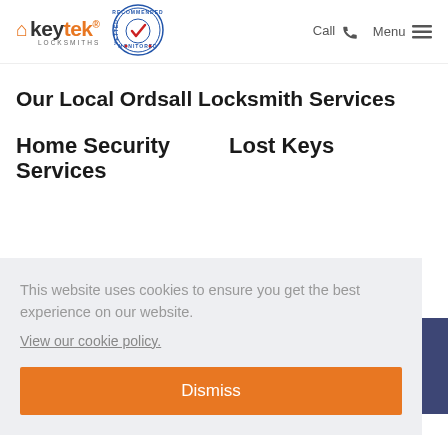[Figure (logo): Keytek Locksmiths logo with orange house icon and text]
[Figure (logo): Recommended Vetted Monitored circular badge with checkmark]
Call  Menu
Our Local Ordsall Locksmith Services
Home Security Services
Lost Keys
This website uses cookies to ensure you get the best experience on our website.
View our cookie policy.
Dismiss